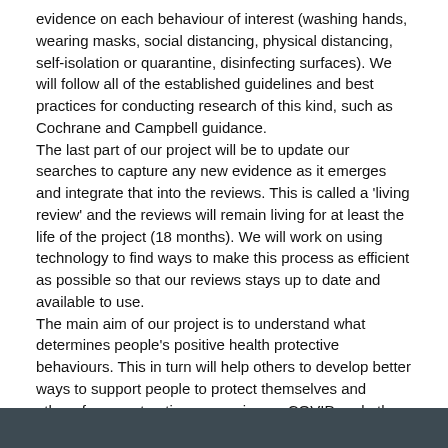evidence on each behaviour of interest (washing hands, wearing masks, social distancing, physical distancing, self-isolation or quarantine, disinfecting surfaces). We will follow all of the established guidelines and best practices for conducting research of this kind, such as Cochrane and Campbell guidance. The last part of our project will be to update our searches to capture any new evidence as it emerges and integrate that into the reviews. This is called a 'living review' and the reviews will remain living for at least the life of the project (18 months). We will work on using technology to find ways to make this process as efficient as possible so that our reviews stays up to date and available to use. The main aim of our project is to understand what determines people's positive health protective behaviours. This in turn will help others to develop better ways to support people to protect themselves and others from contracting or passing on COVID and other similar serious respiratory viral infections.